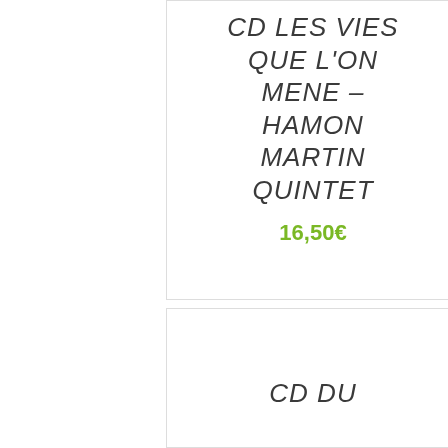CD LES VIES QUE L'ON MENE – HAMON MARTIN QUINTET
16,50€
CD DU